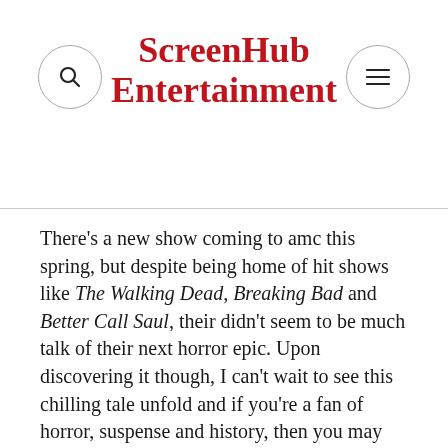ScreenHub Entertainment
There's a new show coming to amc this spring, but despite being home of hit shows like The Walking Dead, Breaking Bad and Better Call Saul, their didn't seem to be much talk of their next horror epic. Upon discovering it though, I can't wait to see this chilling tale unfold and if you're a fan of horror, suspense and history, then you may want to mark your calendars.
Premiering on March 26th on amc, The Terror is produced in part by Ridley Scott, a man who is no stranger to making projects about isolation and fear. He did give us Alien after all. The Terror however, looks like